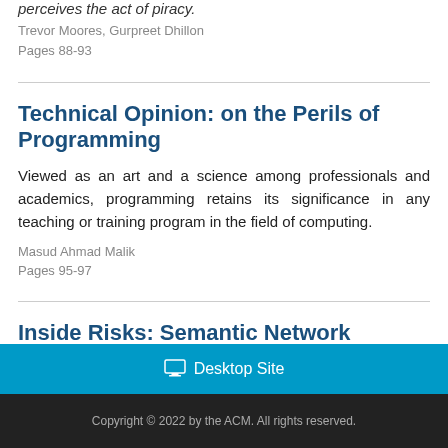perceives the act of piracy.
Trevor Moores, Gurpreet Dhillon
Pages 88-93
Technical Opinion: on the Perils of Programming
Viewed as an art and a science among professionals and academics, programming retains its significance in any teaching or training program in the field of computing.
Masud Ahmad Malik
Pages 95-97
Inside Risks: Semantic Network Attacks
Bruce Schneier
Page 168
Desktop Site
Copyright © 2022 by the ACM. All rights reserved.